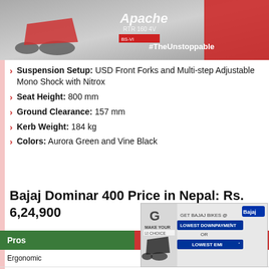[Figure (photo): Apache RTR 160 4V motorcycle advertisement with #TheUnstoppable text on grey/red background]
Suspension Setup: USD Front Forks and Multi-step Adjustable Mono Shock with Nitrox
Seat Height: 800 mm
Ground Clearance: 157 mm
Kerb Weight: 184 kg
Colors: Aurora Green and Vine Black
Bajaj Dominar 400 Price in Nepal: Rs. 6,24,900
[Figure (infographic): Advertisement overlay: MAKE YOUR CHOICE - GET BAJAJ BIKES @ LOWEST DOWNPAYMENT OR LOWEST EMI]
| Pros | Cons |
| --- | --- |
| Ergonomic... | ...my |
| Performance-Focused Tourer | Less Practical Due to Heaw |